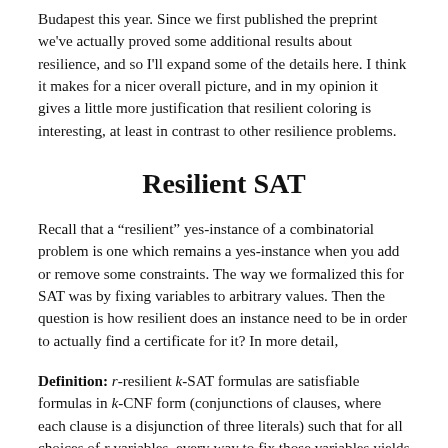Budapest this year. Since we first published the preprint we've actually proved some additional results about resilience, and so I'll expand some of the details here. I think it makes for a nicer overall picture, and in my opinion it gives a little more justification that resilient coloring is interesting, at least in contrast to other resilience problems.
Resilient SAT
Recall that a “resilient” yes-instance of a combinatorial problem is one which remains a yes-instance when you add or remove some constraints. The way we formalized this for SAT was by fixing variables to arbitrary values. Then the question is how resilient does an instance need to be in order to actually find a certificate for it? In more detail,
Definition: r-resilient k-SAT formulas are satisfiable formulas in k-CNF form (conjunctions of clauses, where each clause is a disjunction of three literals) such that for all choices of r variables, every way to fix those variables yields a satisfiable formula.